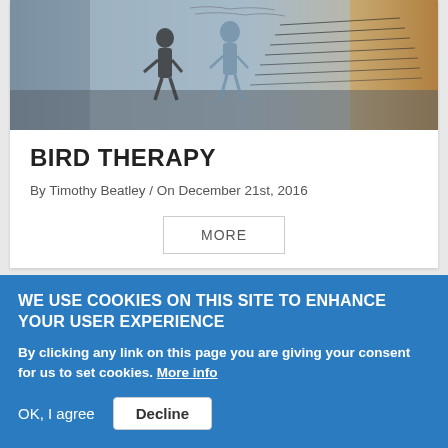[Figure (illustration): Photograph or sketch showing silhouetted figures walking, with black ink drawing lines overlaid on a blurred background image]
BIRD THERAPY
By Timothy Beatley / On December 21st, 2016
MORE
WE USE COOKIES ON THIS SITE TO ENHANCE YOUR USER EXPERIENCE
By clicking any link on this page you are giving your consent for us to set cookies. More info
OK, I agree
Decline